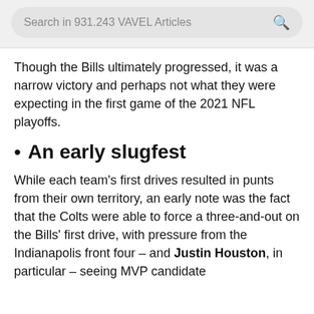Search in 931.243 VAVEL Articles
Though the Bills ultimately progressed, it was a narrow victory and perhaps not what they were expecting in the first game of the 2021 NFL playoffs.
An early slugfest
While each team's first drives resulted in punts from their own territory, an early note was the fact that the Colts were able to force a three-and-out on the Bills' first drive, with pressure from the Indianapolis front four – and Justin Houston, in particular – seeing MVP candidate